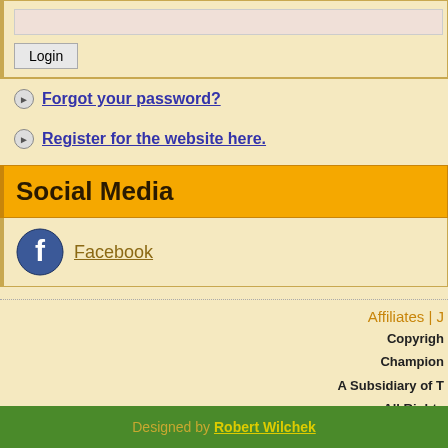Forgot your password?
Register for the website here.
Social Media
Facebook
Affiliates | ... Copyright ... Champion... A Subsidiary of T... All Rights... Designed by Robert Wilchek